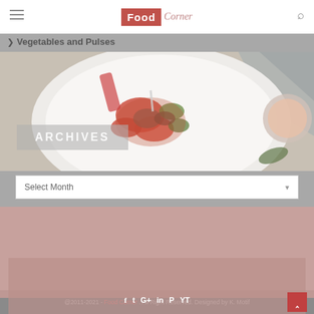Food Corner
> Vegetables and Pulses
[Figure (photo): Food photo showing a white plate with a vegetable and pulse dish, red and green ingredients, on a grey background with a fork and cloth]
ARCHIVES
Select Month
@2011-2021 - Food Corner. All Right Reserved. Designed by K. Motif